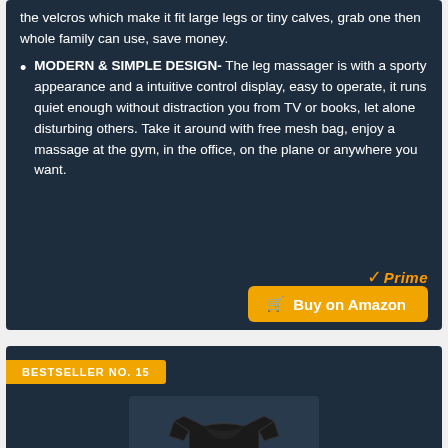the velcros which make it fit large legs or tiny calves, grab one then whole family can use, save money.
MODERN & SIMPLE DESIGN- The leg massager is with a sporty appearance and a intuitive control display, easy to operate, it runs quiet enough without distraction you from TV or books, let alone disturbing others. Take it around with free mesh bag, enjoy a massage at the gym, in the office, on the plane or anywhere you want.
BESTSELLER NO. 15